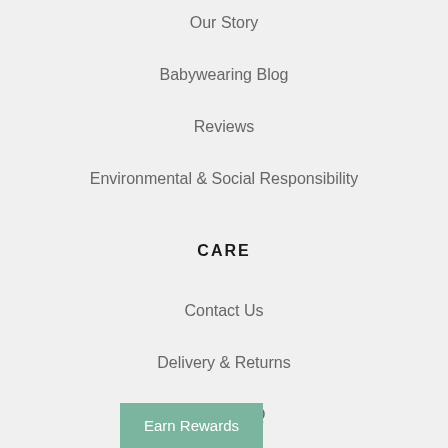Our Story
Babywearing Blog
Reviews
Environmental & Social Responsibility
CARE
Contact Us
Delivery & Returns
Klarna FAQ
Terms & Conditions
Privacy Policy